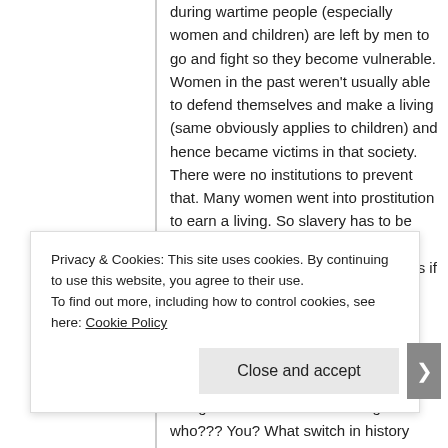during wartime people (especially women and children) are left by men to go and fight so they become vulnerable. Women in the past weren't usually able to defend themselves and make a living (same obviously applies to children) and hence became victims in that society. There were no institutions to prevent that. Many women went into prostitution to earn a living. So slavery has to be understood in that context.
Just throwing out that last sentence as if it's somehow factual just makes me think what atheists are really about. “Having a slave at all, especially as recently as less than two thousand years ago, exempts someone from being a moral leader” according to who??? You? What switch in history took place 2000 years ago to come to that
Privacy & Cookies: This site uses cookies. By continuing to use this website, you agree to their use.
To find out more, including how to control cookies, see here: Cookie Policy
Close and accept